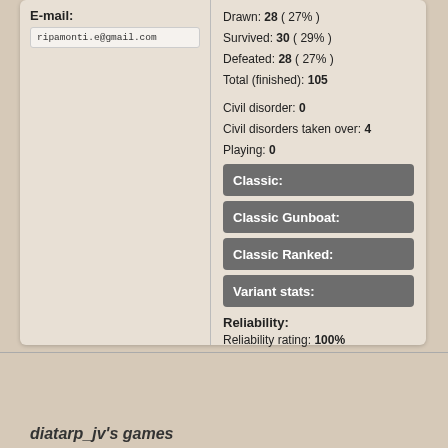E-mail:
ripamonti.e@gmail.com
Drawn: 28 ( 27% )
Survived: 30 ( 29% )
Defeated: 28 ( 27% )
Total (finished): 105
Civil disorder: 0
Civil disorders taken over: 4
Playing: 0
Classic:
Classic Gunboat:
Classic Ranked:
Variant stats:
Reliability:
Reliability rating: 100%
diatarp_jv's games